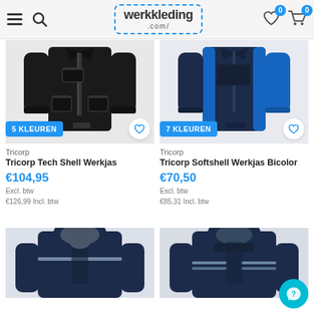werkkleding.com
[Figure (photo): Black Tricorp Tech Shell Werkjas with zipper pockets, shown front view]
5 KLEUREN
Tricorp
Tricorp Tech Shell Werkjas
€104,95
Excl. btw
€126,99 Incl. btw
[Figure (photo): Navy/blue bicolor Tricorp Softshell Werkjas Bicolor, shown front view]
7 KLEUREN
Tricorp
Tricorp Softshell Werkjas Bicolor
€70,50
Excl. btw
€85,31 Incl. btw
[Figure (photo): Dark navy hooded work jacket, shown front view, partially visible]
[Figure (photo): Dark navy hooded work jacket with reflective stitching, shown front view, partially visible]